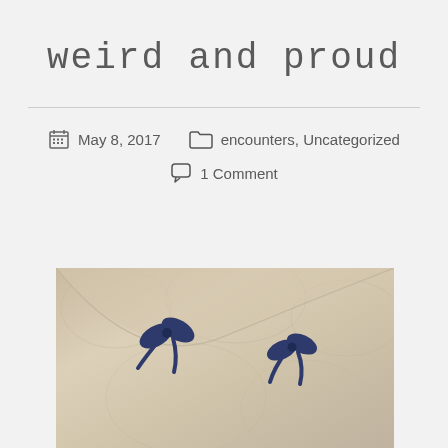weird and proud
May 8, 2017   encounters, Uncategorized   1 Comment
[Figure (photo): Cream/beige embossed fabric curtain with two navy blue ribbon bows tied at the top, with a soft glowing light visible through the fabric]